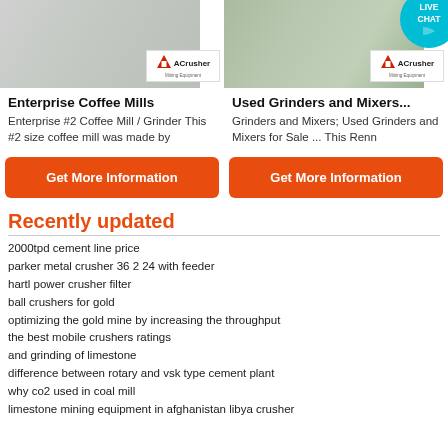[Figure (photo): Mining/quarry equipment photo with ACrusher logo badge, left column]
[Figure (photo): Mining/crushing equipment aerial photo with ACrusher logo badge, right column]
Enterprise Coffee Mills
Used Grinders and Mixers...
Enterprise #2 Coffee Mill / Grinder This #2 size coffee mill was made by
Grinders and Mixers; Used Grinders and Mixers for Sale ... This Renn
Get More Information
Get More Information
Recently updated
2000tpd cement line price
parker metal crusher 36 2 24 with feeder
hartl power crusher filter
ball crushers for gold
optimizing the gold mine by increasing the throughput
the best mobile crushers ratings
and grinding of limestone
difference between rotary and vsk type cement plant
why co2 used in coal mill
limestone mining equipment in afghanistan libya crusher